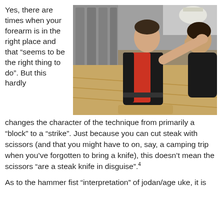Yes, there are times when your forearm is in the right place and that “seems to be the right thing to do”. But this hardly
[Figure (photo): Two men in a gym or martial arts training room. One man in a black and red sleeveless shirt extends his arm toward the face of the other man. The room has a wooden floor and grey walls.]
changes the character of the technique from primarily a “block” to a “strike”. Just because you can cut steak with scissors (and that you might have to on, say, a camping trip when you’ve forgotten to bring a knife), this doesn’t mean the scissors “are a steak knife in disguise”.4
As to the hammer fist “interpretation” of jodan/age uke, it is